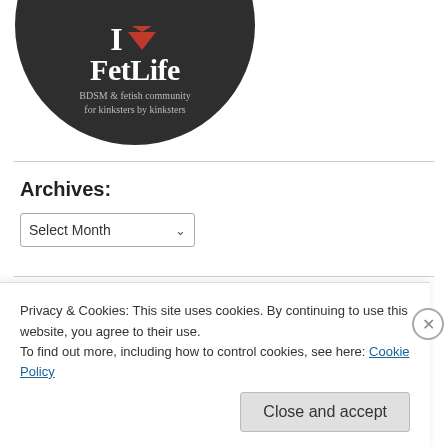[Figure (logo): FetLife logo: dark circle with 'I [heart] FetLife' text and subtitle 'BDSM & fetish community for kinksters by kinksters']
Archives:
Select Month
Categories
Privacy & Cookies: This site uses cookies. By continuing to use this website, you agree to their use.
To find out more, including how to control cookies, see here: Cookie Policy
Close and accept